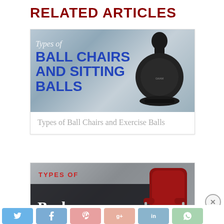RELATED ARTICLES
[Figure (photo): Banner image for 'Types of Ball Chairs and Sitting Balls' article showing bold blue text and a black exercise ball chair on gray background]
Types of Ball Chairs and Exercise Balls
[Figure (photo): Banner image for 'Types of Barber Chairs' article showing red text 'TYPES OF' and large white serif text 'Barber Chairs' on dark overlay with red barber chair on right]
Types of Barber Chairs